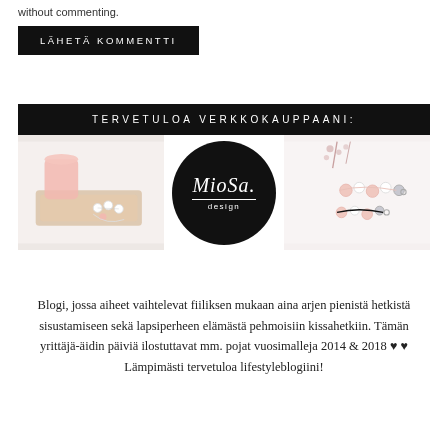without commenting.
LÄHETÄ KOMMENTTI
TERVETULOA VERKKOKAUPPAANI:
[Figure (photo): Three panel shop banner: left panel shows jewelry/beads on wooden tray, center panel shows MioSa design circular logo on black background, right panel shows pink bead jewelry strands]
Blogi, jossa aiheet vaihtelevat fiiliksen mukaan aina arjen pienistä hetkistä sisustamiseen sekä lapsiperheen elämästä pehmoisiin kissahetkiin. Tämän yrittäjä-äidin päiviä ilostuttavat mm. pojat vuosimalleja 2014 & 2018 ♥ ♥
Lämpimästi tervetuloa lifestyleblogiini!